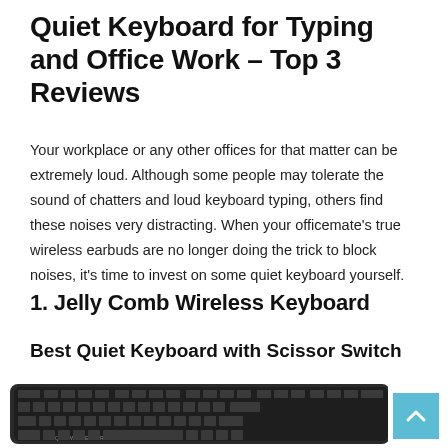Quiet Keyboard for Typing and Office Work – Top 3 Reviews
Your workplace or any other offices for that matter can be extremely loud. Although some people may tolerate the sound of chatters and loud keyboard typing, others find these noises very distracting. When your officemate's true wireless earbuds are no longer doing the trick to block noises, it's time to invest on some quiet keyboard yourself.
1. Jelly Comb Wireless Keyboard
Best Quiet Keyboard with Scissor Switch
[Figure (photo): A dark/black wireless keyboard (Jelly Comb) viewed from a slight angle, showing the full keyboard layout with keys visible.]